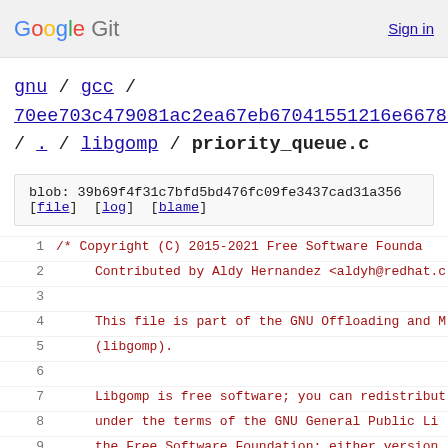Google Git   Sign in
gnu / gcc / 70ee703c479081ac2ea67eb67041551216e66783 / . / libgomp / priority_queue.c
blob: 39b69f4f31c7bfd5bd476fc09fe3437cad31a356 [file] [log] [blame]
1  /* Copyright (C) 2015-2021 Free Software Founda
2       Contributed by Aldy Hernandez <aldyh@redhat.c
3
4      This file is part of the GNU Offloading and M
5      (libgomp).
6
7      Libgomp is free software; you can redistribut
8      under the terms of the GNU General Public Li
9      the Free Software Foundation; either version
10     any later version.